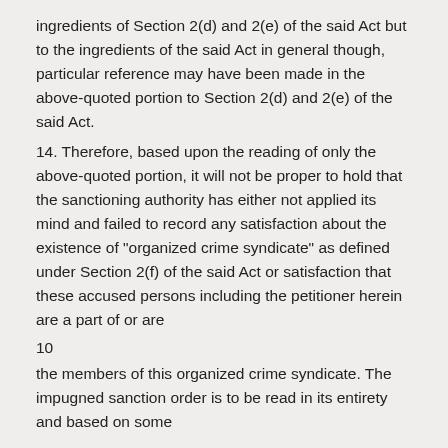ingredients of Section 2(d) and 2(e) of the said Act but to the ingredients of the said Act in general though, particular reference may have been made in the above-quoted portion to Section 2(d) and 2(e) of the said Act.
14. Therefore, based upon the reading of only the above-quoted portion, it will not be proper to hold that the sanctioning authority has either not applied its mind and failed to record any satisfaction about the existence of "organized crime syndicate" as defined under Section 2(f) of the said Act or satisfaction that these accused persons including the petitioner herein are a part of or are
10
the members of this organized crime syndicate. The impugned sanction order is to be read in its entirety and based on some